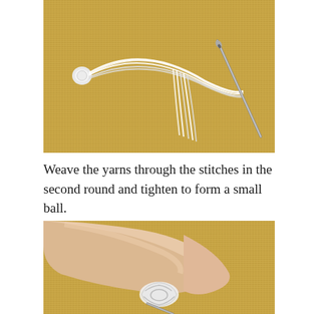[Figure (photo): White yarn strands with a small knotted ball at one end, laid on a yellow woven mat surface, with a metal needle crossing through the strands diagonally.]
Weave the yarns through the stitches in the second round and tighten to form a small ball.
[Figure (photo): A hand holding a small white crocheted ball/ring shape, with a needle visible below, against a yellow woven mat background.]